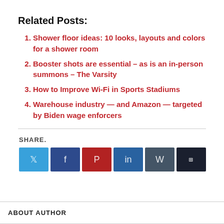Related Posts:
Shower floor ideas: 10 looks, layouts and colors for a shower room
Booster shots are essential – as is an in-person summons – The Varsity
How to Improve Wi-Fi in Sports Stadiums
Warehouse industry — and Amazon — targeted by Biden wage enforcers
SHARE.
[Figure (infographic): Six social sharing buttons: Twitter (light blue), Facebook (dark blue), Pinterest (red), LinkedIn (blue), WhatsApp (dark slate), and a more/share button (dark navy) with double square icon]
ABOUT AUTHOR